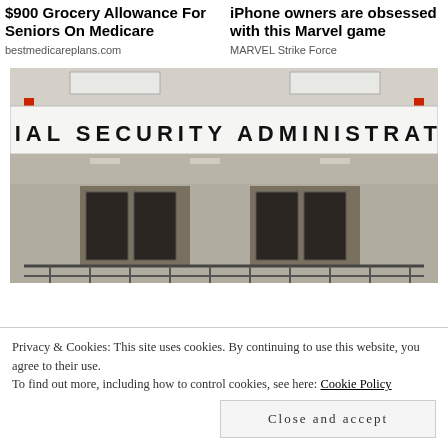$900 Grocery Allowance For Seniors On Medicare
bestmedicareplans.com
iPhone owners are obsessed with this Marvel game
MARVEL Strike Force
[Figure (photo): Exterior photo of a Social Security Administration office building with large sign reading SOCIAL SECURITY ADMINISTRATION, red poles, glass doors, and metal railing in foreground.]
Privacy & Cookies: This site uses cookies. By continuing to use this website, you agree to their use.
To find out more, including how to control cookies, see here: Cookie Policy
Close and accept